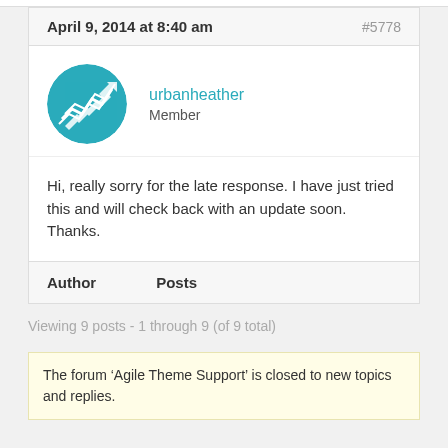April 9, 2014 at 8:40 am
#5778
urbanheather
Member
Hi, really sorry for the late response. I have just tried this and will check back with an update soon. Thanks.
Author    Posts
Viewing 9 posts - 1 through 9 (of 9 total)
The forum ‘Agile Theme Support’ is closed to new topics and replies.